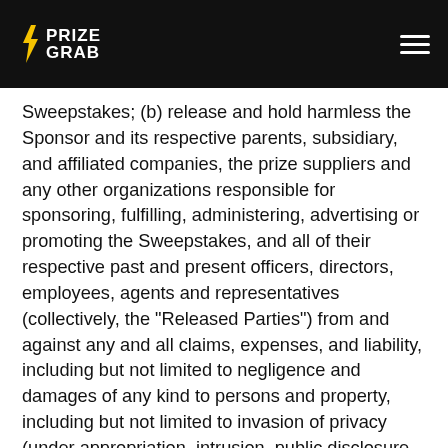PRIZEGRAB
Sweepstakes; (b) release and hold harmless the Sponsor and its respective parents, subsidiary, and affiliated companies, the prize suppliers and any other organizations responsible for sponsoring, fulfilling, administering, advertising or promoting the Sweepstakes, and all of their respective past and present officers, directors, employees, agents and representatives (collectively, the "Released Parties") from and against any and all claims, expenses, and liability, including but not limited to negligence and damages of any kind to persons and property, including but not limited to invasion of privacy (under appropriation, intrusion, public disclosure of private facts, false light in the public eye or other legal theory), defamation, slander, libel, violation of right of publicity, infringement of trademark, copyright or other intellectual property rights, property damage, or death or personal injury